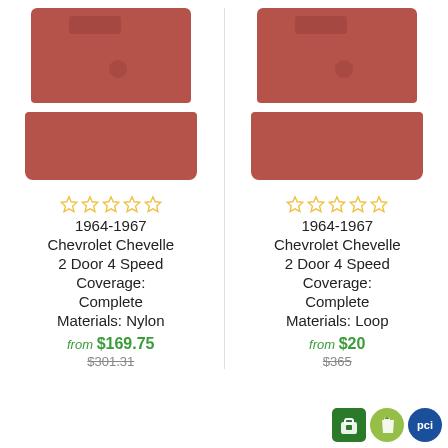[Figure (photo): Rust/terracotta colored carpet set for car, two-piece: top section with tab cutout and bump, bottom section, left product]
[Figure (photo): Rust/terracotta colored carpet set for car, two-piece: top section with tab cutout and bump, bottom section, right product]
☆☆☆☆☆ 1964-1967 Chevrolet Chevelle 2 Door 4 Speed Coverage: Complete Materials: Nylon from $169.75
☆☆☆☆☆ 1964-1967 Chevrolet Chevelle 2 Door 4 Speed Coverage: Complete Materials: Loop from $20...